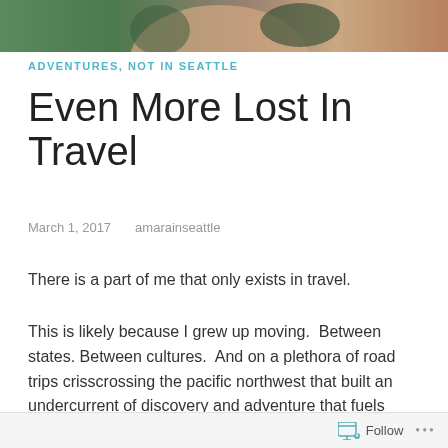[Figure (photo): Cropped photo showing top portion of a person's face with dark hair and green background, only top strip visible]
ADVENTURES, NOT IN SEATTLE
Even More Lost In Travel
March 1, 2017   amarainseattle
There is a part of me that only exists in travel.
This is likely because I grew up moving. Between states. Between cultures. And on a plethora of road trips crisscrossing the pacific northwest that built an undercurrent of discovery and adventure that fuels who I am to this day.
I let travel, in its many forms, wash over me. From selfies in
Follow ...